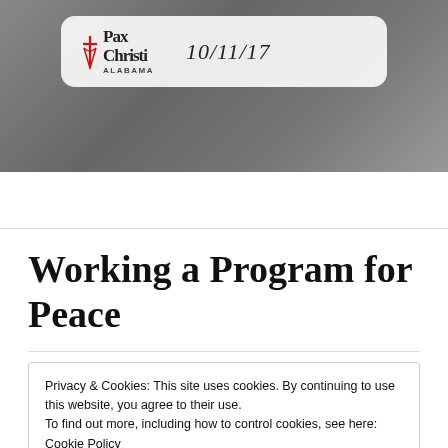[Figure (photo): Photo of a dark textured surface with a Pax Christi Alabama logo badge and date 10/11/17 shown in a white rounded rectangle overlay.]
Working a Program for Peace
Privacy & Cookies: This site uses cookies. By continuing to use this website, you agree to their use.
To find out more, including how to control cookies, see here: Cookie Policy
step program to recover from addiction and